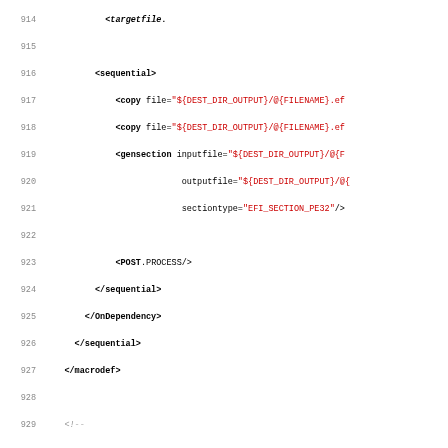Source code listing lines 914-946, XML macrodef configuration for EFI_SECTION_PE32 and EFI_SECTION_VERSION